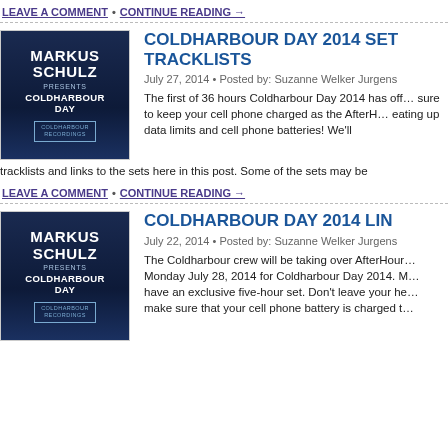LEAVE A COMMENT • CONTINUE READING →
[Figure (illustration): Markus Schulz Presents Coldharbour Day album cover - dark blue background with white bold text]
COLDHARBOUR DAY 2014 SET TRACKLISTS
July 27, 2014 • Posted by: Suzanne Welker Jurgens
The first of 36 hours Coldharbour Day 2014 has off… sure to keep your cell phone charged as the AfterH… eating up data limits and cell phone batteries! We'll tracklists and links to the sets here in this post. Some of the sets may be
LEAVE A COMMENT • CONTINUE READING →
[Figure (illustration): Markus Schulz Presents Coldharbour Day album cover - dark blue background with white bold text]
COLDHARBOUR DAY 2014 LIN…
July 22, 2014 • Posted by: Suzanne Welker Jurgens
The Coldharbour crew will be taking over AfterHour… Monday July 28, 2014 for Coldharbour Day 2014. M… have an exclusive five-hour set. Don't leave your he… make sure that your cell phone battery is charged t…